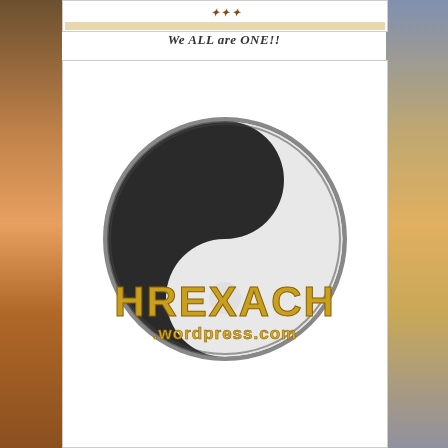[Figure (illustration): Header image with decorative elements at top of page]
We ALL are ONE!!
[Figure (logo): Yin-yang symbol (black and white) with HREXACH.wordpress.com text overlaid in gold/yellow distressed font]